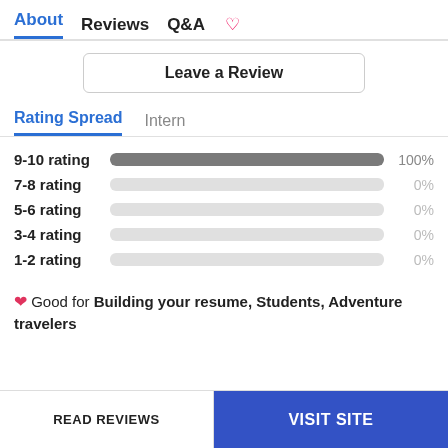About  Reviews  Q&A  ♡
Leave a Review
Rating Spread  Intern
[Figure (bar-chart): Rating Spread]
❤ Good for Building your resume, Students, Adventure travelers
READ REVIEWS   VISIT SITE